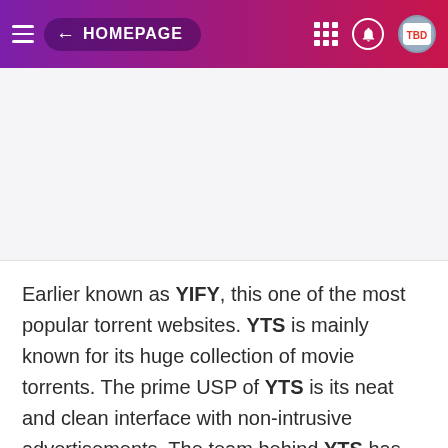← HOMEPAGE
[Figure (other): Blank white/light grey advertisement or image placeholder area]
Earlier known as YIFY, this one of the most popular torrent websites. YTS is mainly known for its huge collection of movie torrents. The prime USP of YTS is its neat and clean interface with non-intrusive advertisements. The team behind YTS has even released an API of their platform. YTS also suffered the